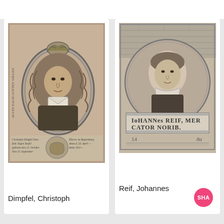[Figure (illustration): Historical engraved portrait of Dimpfel, Christoph — man in large curly wig and clerical collar, set in oval frame with decorative wreath top, text around oval border and inscription below with coat of arms]
Dimpfel, Christoph
[Figure (illustration): Historical engraved portrait of Reif, Johannes — man in simple clothing with lace collar in circular frame, with inscription 'Iohannes Reif, Mercator Norib.' and date numerals below]
Reif, Johannes